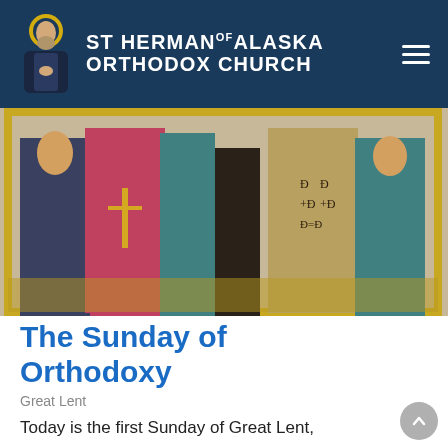ST. HERMAN OF ALASKA ORTHODOX CHURCH
[Figure (photo): Orthodox icon image showing robed figures with ceremonial vestments, crosses, and Byzantine decorative elements against a dark background]
The Sunday of Orthodoxy
Great Lent
Today is the first Sunday of Great Lent, referred to as the Sunday of Orthodoxy. The Gospel for this Sunday is from St. John, chapter 1, verses 43-51 in which...